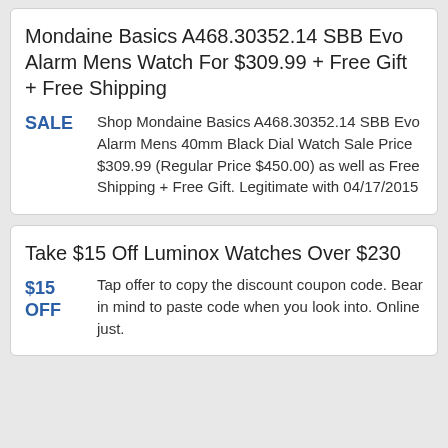Mondaine Basics A468.30352.14 SBB Evo Alarm Mens Watch For $309.99 + Free Gift + Free Shipping
Shop Mondaine Basics A468.30352.14 SBB Evo Alarm Mens 40mm Black Dial Watch Sale Price $309.99 (Regular Price $450.00) as well as Free Shipping + Free Gift. Legitimate with 04/17/2015
Take $15 Off Luminox Watches Over $230
Tap offer to copy the discount coupon code. Bear in mind to paste code when you look into. Online just.